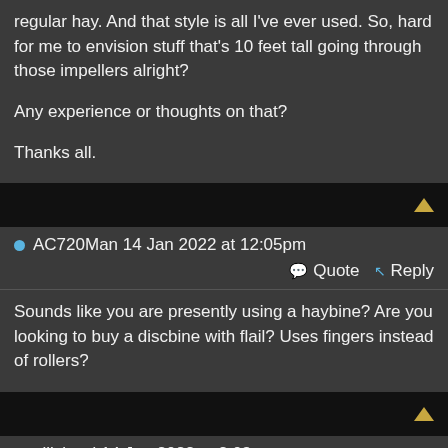regular hay.  And that style is all I've ever used. So, hard for me to envision stuff that's 10 feet tall going through those impellers alright?

Any experience or thoughts on that?

Thanks all.
● AC720Man 14 Jan 2022 at 12:05pm
Quote  Reply
Sounds like you are presently using a haybine? Are you looking to buy a discbine with flail? Uses fingers instead of rollers?
● allisbred 14 Jan 2022 at 2:03pm
Quote  Reply